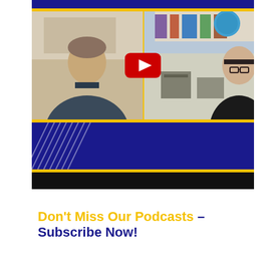[Figure (screenshot): Video thumbnail showing two people in a split-screen video call. Left side shows a man in a dark shirt, right side shows a woman with glasses. A red YouTube play button is centered over the split. The video frame has a dark navy blue top bar, gold separator bars, a blue section with diagonal white lines at bottom, and a black bar at the very bottom.]
Don't Miss Our Podcasts – Subscribe Now!